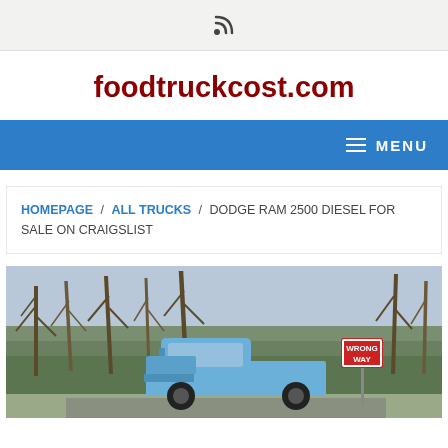RSS feed icon
foodtruckcost.com
≡ MENU
HOMEPAGE / ALL TRUCKS / DODGE RAM 2500 DIESEL FOR SALE ON CRAIGSLIST
[Figure (photo): A light blue Dodge Ram 2500 truck parked on a road surrounded by bare winter trees and green brush. A red 'WRONG WAY' sign is visible to the right of the truck.]